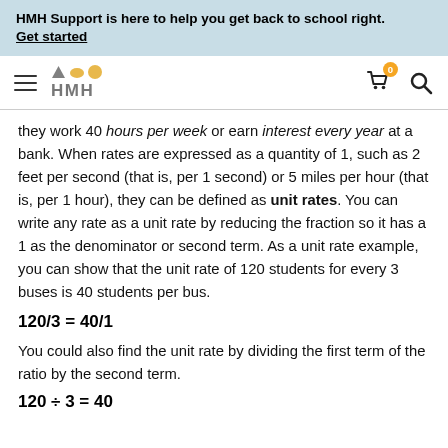HMH Support is here to help you get back to school right. Get started
[Figure (logo): HMH logo with navigation bar showing hamburger menu, HMH logo with colored geometric shapes, cart icon with 0 badge, and search icon]
they work 40 hours per week or earn interest every year at a bank. When rates are expressed as a quantity of 1, such as 2 feet per second (that is, per 1 second) or 5 miles per hour (that is, per 1 hour), they can be defined as unit rates. You can write any rate as a unit rate by reducing the fraction so it has a 1 as the denominator or second term. As a unit rate example, you can show that the unit rate of 120 students for every 3 buses is 40 students per bus.
You could also find the unit rate by dividing the first term of the ratio by the second term.